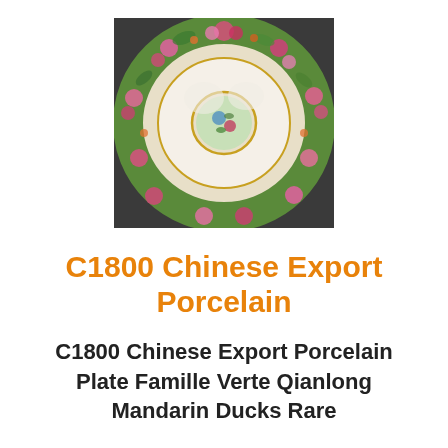[Figure (photo): Photograph of a C1800 Chinese Export Porcelain plate with Famille Verte decoration featuring Mandarin Ducks, floral patterns in pink and green on a dark background.]
C1800 Chinese Export Porcelain
C1800 Chinese Export Porcelain Plate Famille Verte Qianlong Mandarin Ducks Rare